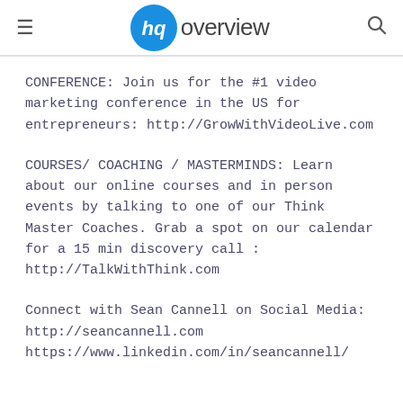hq overview
CONFERENCE: Join us for the #1 video marketing conference in the US for entrepreneurs: http://GrowWithVideoLive.com
COURSES/ COACHING / MASTERMINDS: Learn about our online courses and in person events by talking to one of our Think Master Coaches. Grab a spot on our calendar for a 15 min discovery call : http://TalkWithThink.com
Connect with Sean Cannell on Social Media:
http://seancannell.com
https://www.linkedin.com/in/seancannell/